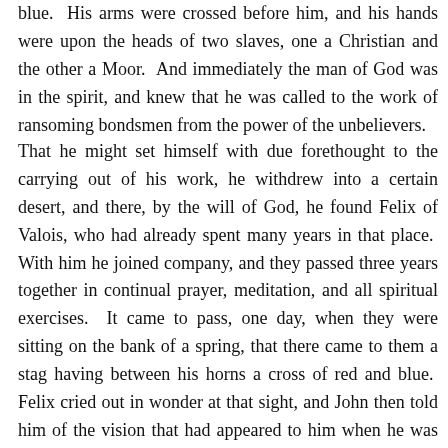blue. His arms were crossed before him, and his hands were upon the heads of two slaves, one a Christian and the other a Moor. And immediately the man of God was in the spirit, and knew that he was called to the work of ransoming bondsmen from the power of the unbelievers.
That he might set himself with due forethought to the carrying out of his work, he withdrew into a certain desert, and there, by the will of God, he found Felix of Valois, who had already spent many years in that place. With him he joined company, and they passed three years together in continual prayer, meditation, and all spiritual exercises. It came to pass, one day, when they were sitting on the bank of a spring, that there came to them a stag having between his horns a cross of red and blue. Felix cried out in wonder at that sight, and John then told him of the vision that had appeared to him when he was saying his first Mass. Thenceforth they gave themselves with redoubled fervour to prayer, and, being three times warned in sleep, they determined to go to Rome, and pray the Pope to institute an Order for the ransom of captives. They arrived at the time of the election of Innocent III, who received them courteously, and entertained in his mind their petition. While he was in consideration, he went to the Lateran Cathedral...